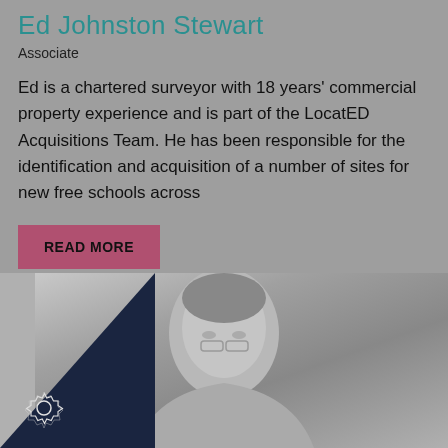Ed Johnston Stewart
Associate
Ed is a chartered surveyor with 18 years' commercial property experience and is part of the LocatED Acquisitions Team. He has been responsible for the identification and acquisition of a number of sites for new free schools across
READ MORE
[Figure (photo): Grayscale headshot photo of Ed Johnston Stewart with dark navy triangle overlay in bottom-left corner containing a gear/cog icon]